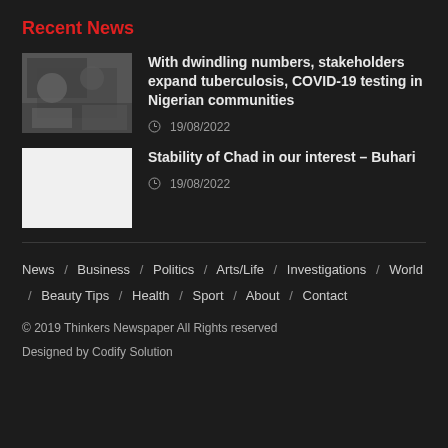Recent News
With dwindling numbers, stakeholders expand tuberculosis, COVID-19 testing in Nigerian communities
19/08/2022
Stability of Chad in our interest – Buhari
19/08/2022
News / Business / Politics / Arts/Life / Investigations / World / Beauty Tips / Health / Sport / About / Contact
© 2019 Thinkers Newspaper All Rights reserved
Designed by Codify Solution